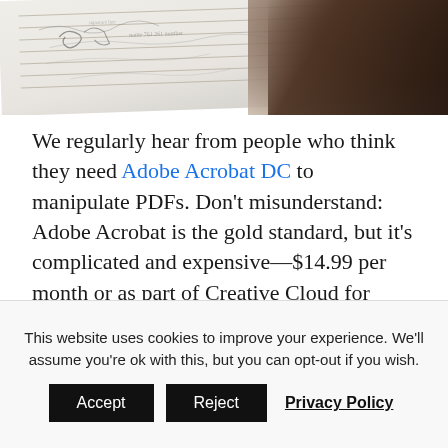[Figure (photo): A photo showing a dark-skinned hand holding or touching a paper document with handwritten or printed lines visible.]
We regularly hear from people who think they need Adobe Acrobat DC to manipulate PDFs. Don't misunderstand: Adobe Acrobat is the gold standard, but it's complicated and expensive—$14.99 per month or as part of Creative Cloud for $52.99 per month. In contrast, Apple's Preview is easy and free with macOS. Here are six tasks that people may think require Acrobat but can easily be accomplished in Preview.
This website uses cookies to improve your experience. We'll assume you're ok with this, but you can opt-out if you wish.